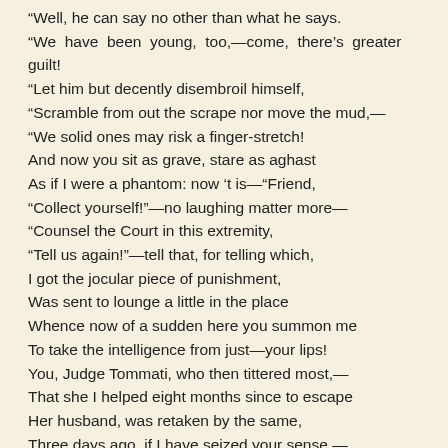"Well, he can say no other than what he says.
"We have been young, too,—come, there's greater guilt!
"Let him but decently disembroil himself,
"Scramble from out the scrape nor move the mud,—
"We solid ones may risk a finger-stretch!
And now you sit as grave, stare as aghast
As if I were a phantom: now 't is—"Friend,
"Collect yourself!"—no laughing matter more—
"Counsel the Court in this extremity,
"Tell us again!"—tell that, for telling which,
I got the jocular piece of punishment,
Was sent to lounge a little in the place
Whence now of a sudden here you summon me
To take the intelligence from just—your lips!
You, Judge Tommati, who then tittered most,—
That she I helped eight months since to escape
Her husband, was retaken by the same,
Three days ago, if I have seized your sense —